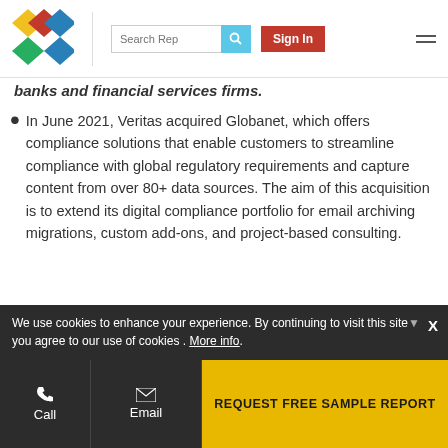Search Rep | Sign In
banks and financial services firms.
In June 2021, Veritas acquired Globanet, which offers compliance solutions that enable customers to streamline compliance with global regulatory requirements and capture content from over 80+ data sources. The aim of this acquisition is to extend its digital compliance portfolio for email archiving migrations, custom add-ons, and project-based consulting.
Frequently Asked Questions (FAQ):
What is the projected market value of the global
We use cookies to enhance your experience. By continuing to visit this site you agree to our use of cookies . More info.
Call | Email | REQUEST FREE SAMPLE REPORT